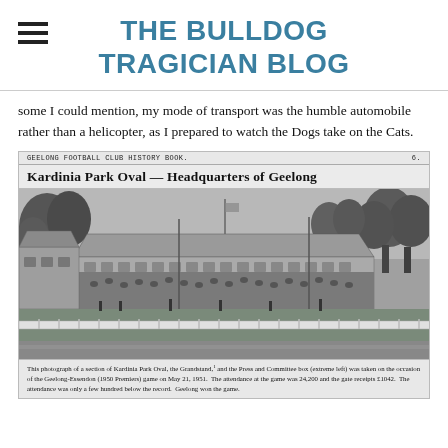THE BULLDOG TRAGICIAN BLOG
some I could mention, my mode of transport was the humble automobile rather than a helicopter, as I prepared to watch the Dogs take on the Cats.
[Figure (photo): Black and white photograph from the Geelong Football Club History Book showing Kardinia Park Oval — Headquarters of Geelong. The image shows the Grandstand and the Press and Committee box at extreme left, taken on the occasion of the Geelong-Essendon (1950 Premiers) game on May 21, 1951. The attendance at the game was 24,200 and the gate receipts £1042. The attendance was only a few hundred below the record. Geelong won the game.]